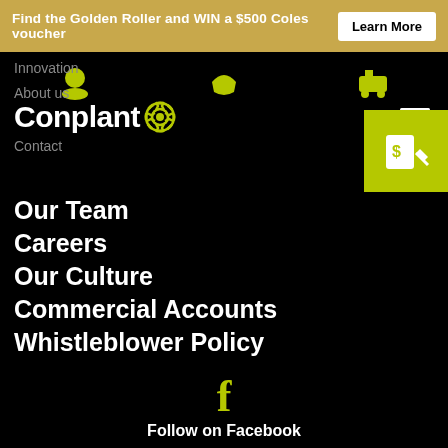Find the Golden Roller and WIN a $500 Coles voucher | Learn More
[Figure (logo): Conplant logo with gear icon, white text on black background]
Innovation
About us
Contact
Our Team
Careers
Our Culture
Commercial Accounts
Whistleblower Policy
Follow on Facebook